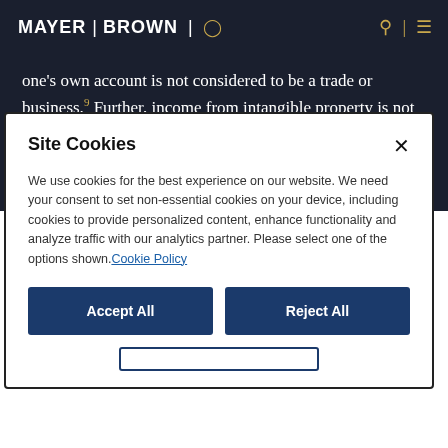MAYER | BROWN
one’s own account is not considered to be a trade or business.⁹ Further, income from intangible property is not sourced to NYS unless the underlying asset is used in a trade or business carried on in NYS.¹⁰ This means most nonresident
[Figure (screenshot): Cookie consent modal dialog with title 'Site Cookies', body text about cookie usage, a Cookie Policy link, Accept All button, Reject All button, and a partially visible Manage Preferences button at the bottom.]